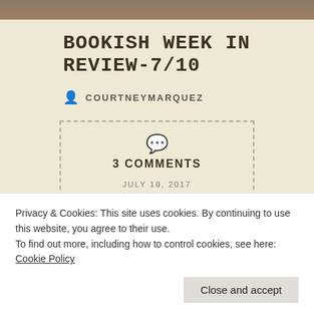[Figure (photo): Partial photo strip at top of page]
BOOKISH WEEK IN REVIEW-7/10
COURTNEYMARQUEZ
3 COMMENTS
JULY 10, 2017
Privacy & Cookies: This site uses cookies. By continuing to use this website, you agree to their use.
To find out more, including how to control cookies, see here: Cookie Policy